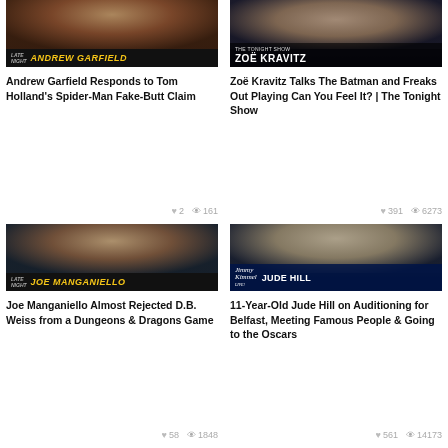[Figure (photo): Thumbnail image of Andrew Garfield on Late Night show with name bar showing 'ANDREW GARFIELD' in yellow italic text]
Andrew Garfield Responds to Tom Holland's Spider-Man Fake-Butt Claim
♥ 2  👁 161
[Figure (photo): Thumbnail image of Zoë Kravitz on The Tonight Show with name bar showing 'ZOË KRAVITZ' in white text]
Zoë Kravitz Talks The Batman and Freaks Out Playing Can You Feel It? | The Tonight Show
♥ 391  👁 6273
[Figure (photo): Thumbnail image of Joe Manganiello on Late Night show with name bar showing 'JOE MANGANIELLO' in yellow italic text]
Joe Manganiello Almost Rejected D.B. Weiss from a Dungeons & Dragons Game
♥ 58  👁 1848
[Figure (photo): Thumbnail image of Jude Hill on Jimmy Kimmel Live with name bar showing 'JUDE HILL' in white text]
11-Year-Old Jude Hill on Auditioning for Belfast, Meeting Famous People & Going to the Oscars
♥ 561  👁 14173